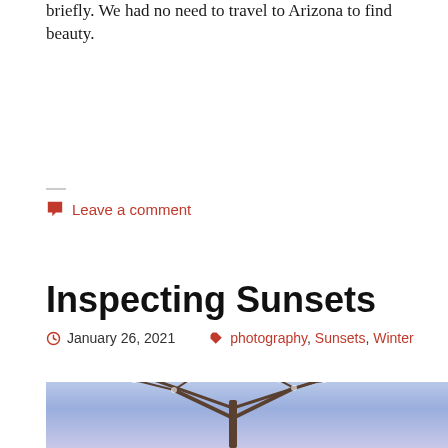briefly. We had no need to travel to Arizona to find beauty.
Leave a comment
Inspecting Sunsets
January 26, 2021   photography, Sunsets, Winter
[Figure (photo): Winter tree with snow-covered branches against a purple-blue twilight sky at sunset]